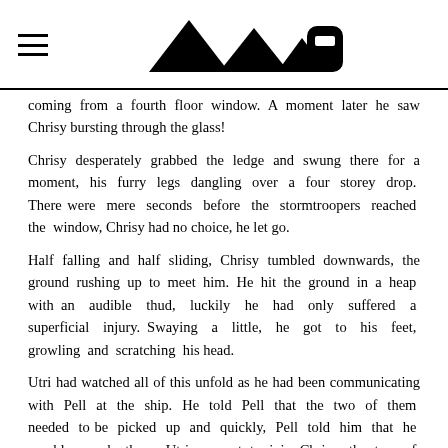Logo / navigation header with hamburger menu and triangle logo icons
coming from a fourth floor window. A moment later he saw Chrisy bursting through the glass!
Chrisy desperately grabbed the ledge and swung there for a moment, his furry legs dangling over a four storey drop. There were mere seconds before the stormtroopers reached the window, Chrisy had no choice, he let go.
Half falling and half sliding, Chrisy tumbled downwards, the ground rushing up to meet him. He hit the ground in a heap with an audible thud, luckily he had only suffered a superficial injury. Swaying a little, he got to his feet, growling and scratching his head.
Utri had watched all of this unfold as he had been communicating with Pell at the ship. He told Pell that the two of them needed to be picked up and quickly, Pell told him that he would soon be there. Utri ran out to join Chrisy, the two of them ran off, just as